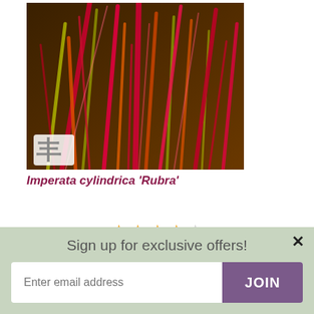[Figure (photo): Close-up photo of Imperata cylindrica 'Rubra' ornamental grass with vivid red and green blades backlit by sunlight. A white brand logo (stylized T&M letters) appears in the lower-left corner of the image.]
Imperata cylindrica 'Rubra'
[Figure (other): Star rating: 4 out of 5 stars (4 filled orange stars, 1 empty grey star) with '36 Reviews' text below]
36 Reviews
Sun
Grows in:
Sign up for exclusive offers!
Enter email address
JOIN